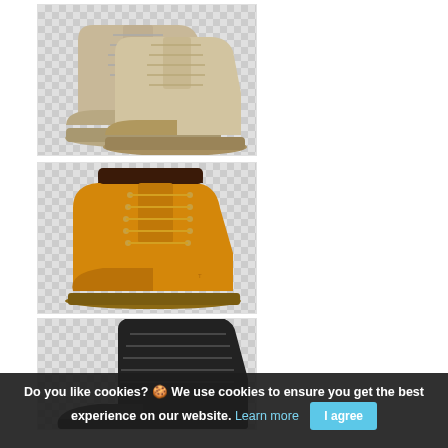[Figure (photo): Tan/beige military-style lace-up boots on transparent checkerboard background, showing two boots with thick rubber soles]
[Figure (photo): Wheat/golden brown Timberland-style work boot on transparent checkerboard background with dark brown collar and gum rubber sole]
[Figure (photo): Black lace-up boot on transparent checkerboard background, partially visible, showing dark leather upper]
Do you like cookies? 🍪 We use cookies to ensure you get the best experience on our website. Learn more | I agree